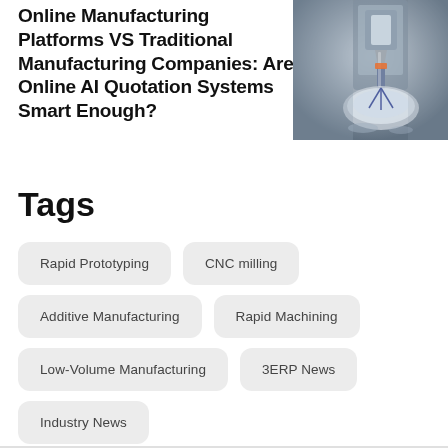Online Manufacturing Platforms VS Traditional Manufacturing Companies: Are Online AI Quotation Systems Smart Enough?
[Figure (photo): Close-up photo of a CNC milling machine tool cutting a metal workpiece, showing the rotating spindle and machined part]
Tags
Rapid Prototyping
CNC milling
Additive Manufacturing
Rapid Machining
Low-Volume Manufacturing
3ERP News
Industry News